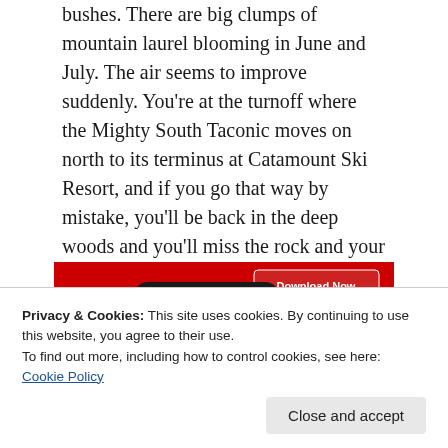bushes. There are big clumps of mountain laurel blooming in June and July. The air seems to improve suddenly. You're at the turnoff where the Mighty South Taconic moves on north to its terminus at Catamount Ski Resort, and if you go that way by mistake, you'll be back in the deep woods and you'll miss the rock and your peanut butter and jelly sandwich. So don't do that. Walk to the right.
[Figure (screenshot): A smartphone displayed on a red background showing a music/podcast app interface with playback controls and a 'Download Now' button]
Privacy & Cookies: This site uses cookies. By continuing to use this website, you agree to their use.
To find out more, including how to control cookies, see here: Cookie Policy